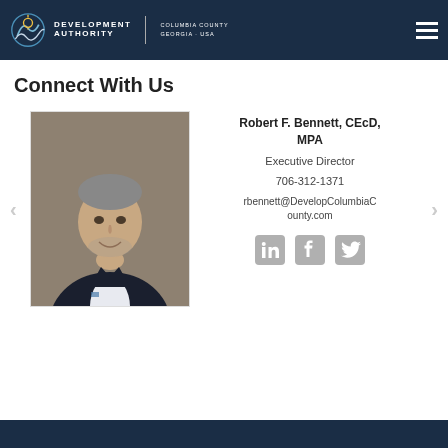Development Authority | Columbia County Georgia USA
Connect With Us
[Figure (photo): Professional headshot of Robert F. Bennett, a middle-aged man in a dark suit smiling at the camera.]
Robert F. Bennett, CEcD, MPA
Executive Director
706-312-1371
rbennett@DevelopColumbiaCounty.com
[Figure (illustration): LinkedIn, Facebook, and Twitter social media icons in gray]